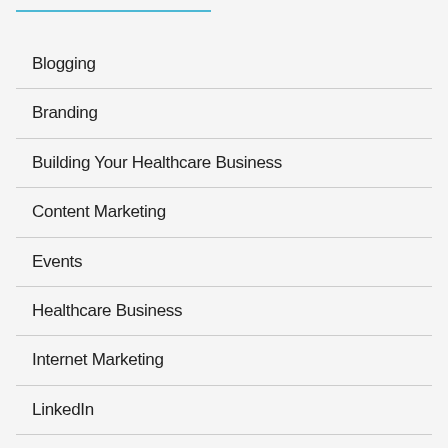Blogging
Branding
Building Your Healthcare Business
Content Marketing
Events
Healthcare Business
Internet Marketing
LinkedIn
Mobile Websites